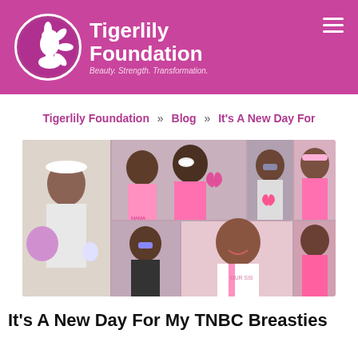Tigerlily Foundation — Beauty. Strength. Transformation.
Tigerlily Foundation » Blog » It's A New Day For
[Figure (photo): A photo collage of women wearing pink breast cancer awareness clothing, pink ribbons, and accessories at a breast cancer awareness event. Multiple women are smiling and celebrating.]
It's A New Day For My TNBC Breasties